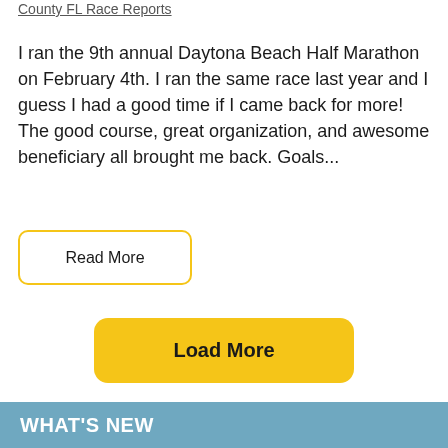County FL Race Reports
I ran the 9th annual Daytona Beach Half Marathon on February 4th. I ran the same race last year and I guess I had a good time if I came back for more! The good course, great organization, and awesome beneficiary all brought me back. Goals...
Read More
Load More
Search site ...
WHAT'S NEW